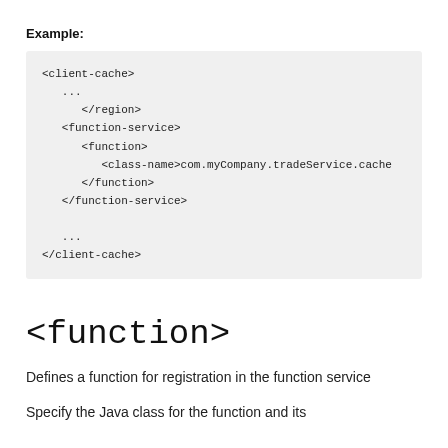Example:
[Figure (other): Code block showing XML configuration with client-cache, function-service, function, class-name, and closing tags.]
<function>
Defines a function for registration in the function service
Specify the Java class for the function and its